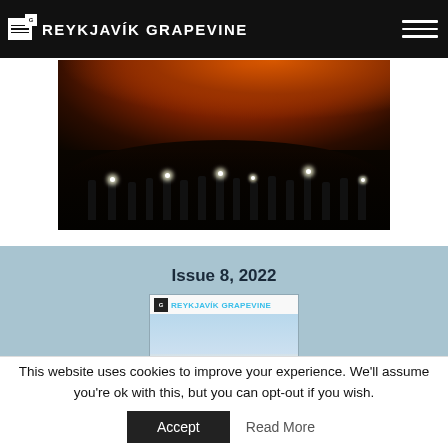THE REYKJAVÍK GRAPEVINE
[Figure (photo): Night scene of people with headlamps and lights standing in front of a large orange volcanic fire/lava glow on a hillside, silhouetted against a glowing orange sky]
Issue 8, 2022
[Figure (photo): Cover of The Reykjavík Grapevine magazine Issue 8 2022, showing aerial view of Reykjavik buildings and cityscape]
This website uses cookies to improve your experience. We'll assume you're ok with this, but you can opt-out if you wish.